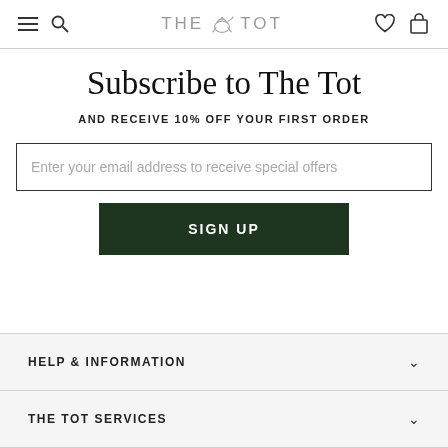THE TOT
Subscribe to The Tot
AND RECEIVE 10% OFF YOUR FIRST ORDER
Enter your email address to receive special offers
SIGN UP
HELP & INFORMATION
THE TOT SERVICES